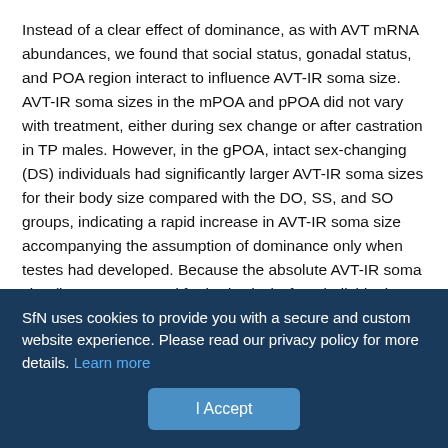Instead of a clear effect of dominance, as with AVT mRNA abundances, we found that social status, gonadal status, and POA region interact to influence AVT-IR soma size. AVT-IR soma sizes in the mPOA and pPOA did not vary with treatment, either during sex change or after castration in TP males. However, in the gPOA, intact sex-changing (DS) individuals had significantly larger AVT-IR soma sizes for their body size compared with the DO, SS, and SO groups, indicating a rapid increase in AVT-IR soma size accompanying the assumption of dominance only when testes had developed. Because the absolute AVT-IR soma size (i.e., not corrected for body size) of DS individuals was similar to the much larger TP males of the castration experiment, gonadal input may serve to rapidly increase the size of AVT-IR neurons to that characteristic of fully developed
SfN uses cookies to provide you with a secure and custom website experience. Please read our privacy policy for more details. Learn more